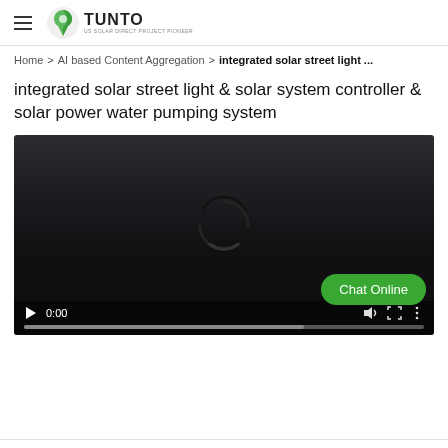TUNTO — US SOLAR DIRECT PROJECT PIONEER
Home > AI based Content Aggregation > integrated solar street light ...
integrated solar street light & solar system controller & solar power water pumping system
[Figure (screenshot): Video player with dark background showing a loading spinner and controls including play button, time display 0:00, volume icon, fullscreen icon, and more options icon. A green 'Chat Online' button overlays the lower right. A progress bar is shown at the bottom.]